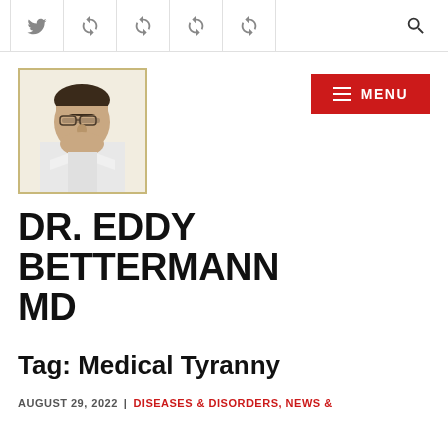Navigation bar with Twitter icon and social/share icons
[Figure (photo): Portrait photo of Dr. Eddy Bettermann MD, an older man with glasses wearing a white coat]
[Figure (other): Red MENU button with hamburger icon]
DR. EDDY BETTERMANN MD
Tag: Medical Tyranny
AUGUST 29, 2022 | DISEASES & DISORDERS, NEWS &